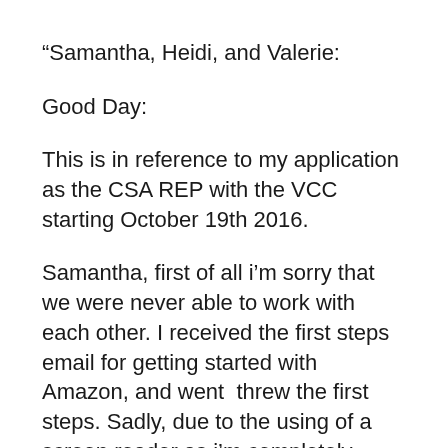“Samantha, Heidi, and Valerie:
Good Day:
This is in reference to my application as the CSA REP with the VCC starting October 19th 2016.
Samantha, first of all i’m sorry that we were never able to work with each other. I received the first steps email for getting started with Amazon, and went  threw the first steps. Sadly, due to the using of a screen reader as i’m completely blind, Amazon’s on boarding processes are not accessible and so i will not be starting on